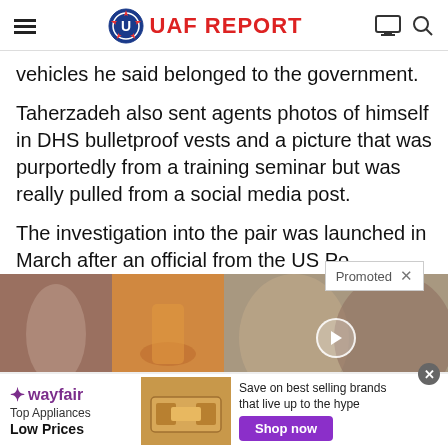UAF REPORT
vehicles he said belonged to the government.
Taherzadeh also sent agents photos of himself in DHS bulletproof vests and a picture that was purportedly from a training seminar but was really pulled from a social media post.
The investigation into the pair was launched in March after an official from the US Po...
[Figure (photo): Promoted ad images: woman fitness photo, spice on spoon, and Melania and Donald Trump with video play button overlay]
A Teaspoon On An Empty
Top Democrats Fear This
[Figure (photo): Wayfair advertisement: Top Appliances Low Prices, Save on best selling brands that live up to the hype, Shop now button]